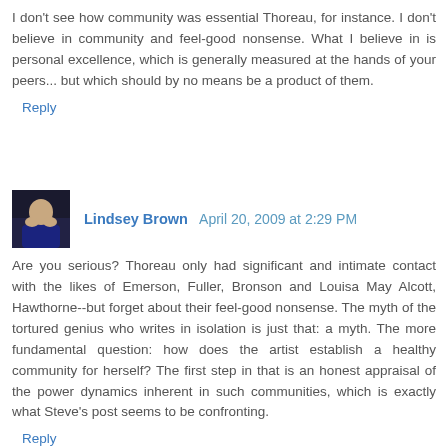I don't see how community was essential Thoreau, for instance. I don't believe in community and feel-good nonsense. What I believe in is personal excellence, which is generally measured at the hands of your peers... but which should by no means be a product of them.
Reply
Lindsey Brown  April 20, 2009 at 2:29 PM
Are you serious? Thoreau only had significant and intimate contact with the likes of Emerson, Fuller, Bronson and Louisa May Alcott, Hawthorne--but forget about their feel-good nonsense. The myth of the tortured genius who writes in isolation is just that: a myth. The more fundamental question: how does the artist establish a healthy community for herself? The first step in that is an honest appraisal of the power dynamics inherent in such communities, which is exactly what Steve's post seems to be confronting.
Reply